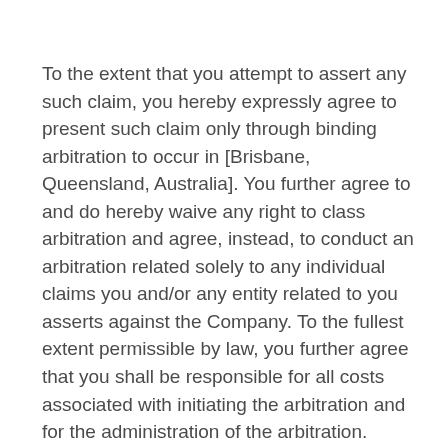To the extent that you attempt to assert any such claim, you hereby expressly agree to present such claim only through binding arbitration to occur in [Brisbane, Queensland, Australia]. You further agree to and do hereby waive any right to class arbitration and agree, instead, to conduct an arbitration related solely to any individual claims you and/or any entity related to you asserts against the Company. To the fullest extent permissible by law, you further agree that you shall be responsible for all costs associated with initiating the arbitration and for the administration of the arbitration.